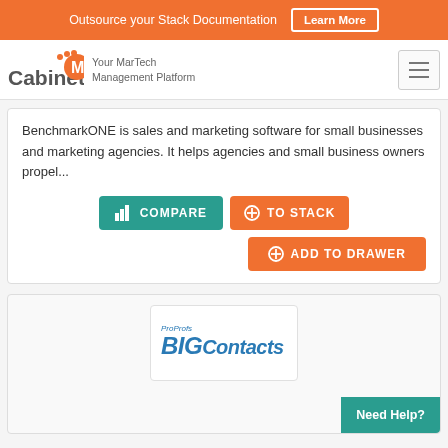Outsource your Stack Documentation  Learn More
[Figure (logo): CabinetM logo with orange M circle and text 'Your MarTech Management Platform']
BenchmarkONE is sales and marketing software for small businesses and marketing agencies. It helps agencies and small business owners propel...
[Figure (screenshot): COMPARE button (teal), TO STACK button (orange), ADD TO DRAWER button (orange)]
[Figure (logo): ProProfs BIGContacts logo in blue italic text]